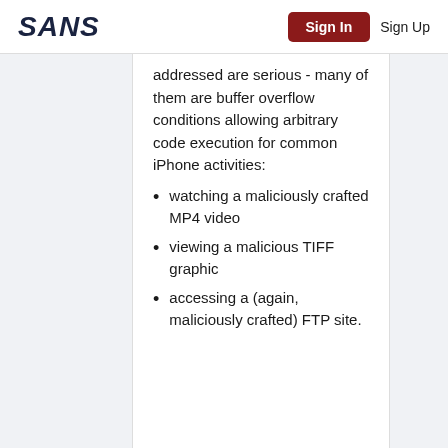SANS | Sign In | Sign Up
addressed are serious - many of them are buffer overflow conditions allowing arbitrary code execution for common iPhone activities:
watching a maliciously crafted MP4 video
viewing a malicious TIFF graphic
accessing a (again, maliciously crafted) FTP site.